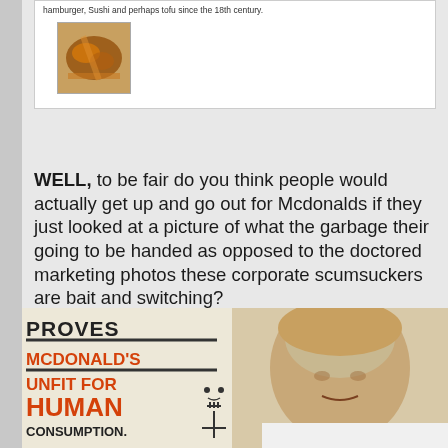hamburger, Sushi and perhaps tofu since the 18th century.
[Figure (photo): Small photo of an object, appears to be a food-related image with brown/orange tones]
WELL, to be fair do you think people would actually get up and go out for Mcdonalds if they just looked at a picture of what the garbage their going to be handed as opposed to the doctored marketing photos these corporate scumsuckers are bait and switching?
[Figure (infographic): Image with text: PROVES MCDONALD'S UNFIT FOR HUMAN CONSUMPTION. Shows a man's face and skull-and-crossbones icon.]